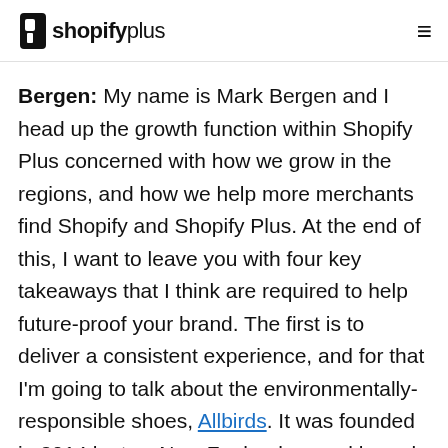shopify plus
Bergen: My name is Mark Bergen and I head up the growth function within Shopify Plus concerned with how we grow in the regions, and how we help more merchants find Shopify and Shopify Plus. At the end of this, I want to leave you with four key takeaways that I think are required to help future-proof your brand. The first is to deliver a consistent experience, and for that I'm going to talk about the environmentally-responsible shoes, Allbirds. It was founded in 2014 by two New Zealanders and based out of San Francisco. They are five years old and are valued at over $1 billion. When they launched, they